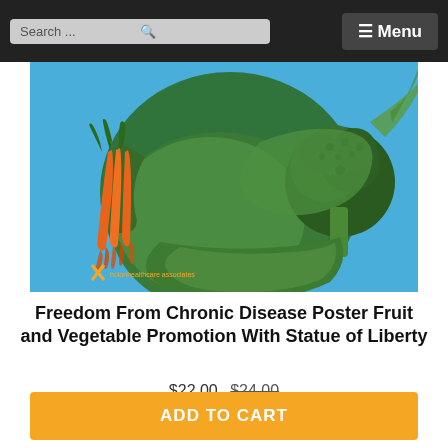Search ...  ☰ Menu
[Figure (photo): Product image showing a creative illustration of the Statue of Liberty made from vegetables: carrots, broccoli, cabbage leaves on a blue sky background. A small logo is visible in the lower-left corner.]
Freedom From Chronic Disease Poster Fruit and Vegetable Promotion With Statue of Liberty
$22.00 $24.00
ADD TO CART